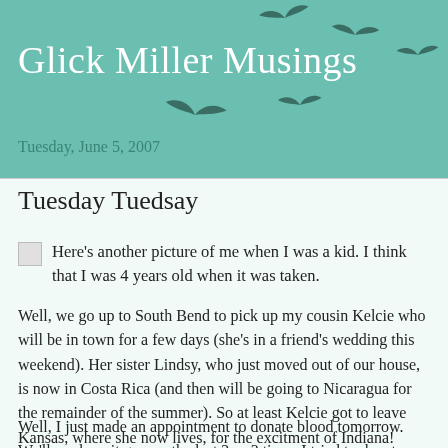Glick Miller Musings
Tuesday, June 5, 2007
Tuesday Tuedsay
Here's another picture of me when I was a kid. I think that I was 4 years old when it was taken.
Well, we go up to South Bend to pick up my cousin Kelcie who will be in town for a few days (she's in a friend's wedding this weekend). Her sister Lindsy, who just moved out of our house, is now in Costa Rica (and then will be going to Nicaragua for the remainder of the summer). So at least Kelcie got to leave Kansas, where she now lives, for the excitment of Indiana!
Well, I just made an appointment to donate blood tomorrow. We'll see how it goes -- the last 2 or 3 times I tried to donate